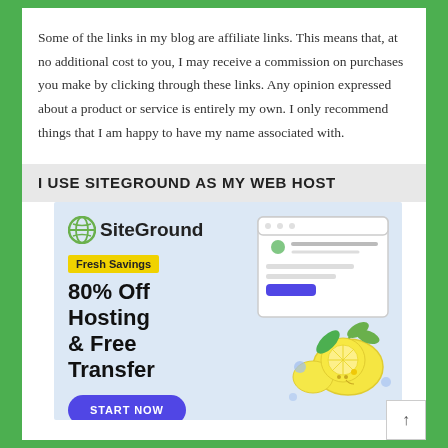Some of the links in my blog are affiliate links. This means that, at no additional cost to you, I may receive a commission on purchases you make by clicking through these links. Any opinion expressed about a product or service is entirely my own. I only recommend things that I am happy to have my name associated with.
I USE SITEGROUND AS MY WEB HOST
[Figure (illustration): SiteGround advertisement banner with logo, 'Fresh Savings' badge, '80% Off Hosting & Free Transfer' offer text, a 'START NOW' button, and an illustration of a browser window with lemons.]